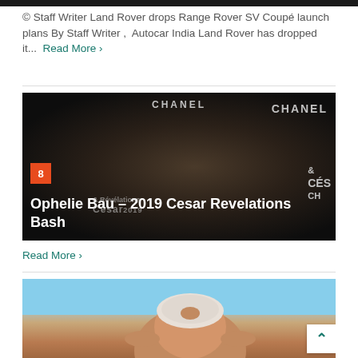[Figure (photo): Dark/black image strip at the top of the page]
© Staff Writer Land Rover drops Range Rover SV Coupé launch plans By Staff Writer ,  Autocar India Land Rover has dropped it...  Read More ›
[Figure (photo): Photo of Ophelie Bau at 2019 Cesar Revelations Bash, in front of a Chanel branded backdrop. Badge '8' visible. Title text overlay: 'Ophelie Bau – 2019 Cesar Revelations Bash'. Cesar 2019 watermark visible.]
Read More ›
[Figure (photo): Photo of a woman in a white crop top against a blue sky background, cropped to torso]